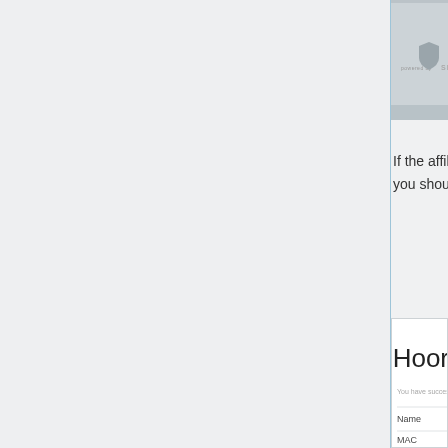[Figure (screenshot): Top banner area with 'powered by' text and a shield/security logo icon with 'SEC' text, on a gray background]
If the affiliation process was successful, you should see the messages below.
[Figure (screenshot): White card UI panel showing 'Hooray!' heading, a success message 'You have successfully linked your Almon...', and fields labeled Name, MAC, SSID with horizontal dividers between them]